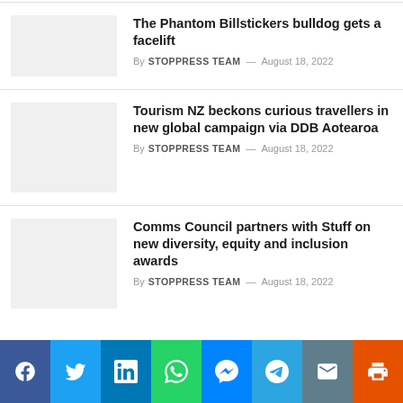The Phantom Billstickers bulldog gets a facelift
By STOPPRESS TEAM — August 18, 2022
Tourism NZ beckons curious travellers in new global campaign via DDB Aotearoa
By STOPPRESS TEAM — August 18, 2022
Comms Council partners with Stuff on new diversity, equity and inclusion awards
By STOPPRESS TEAM — August 18, 2022
[Figure (infographic): Social sharing bar with icons for Facebook, Twitter, LinkedIn, WhatsApp, Messenger, Telegram, Email, Print]